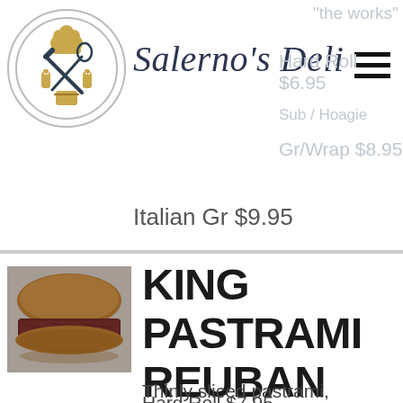[Figure (logo): Salerno's Deli circular logo with chef hat, knife, whisk, salt/pepper shakers, and bucket icon]
Salerno's Deli
"the works"
Hard Roll $6.95
Gr/Wrap $8.95
Italian Gr $9.95
[Figure (photo): Photo of a pastrami reuban sandwich cut in half, showing layers of pastrami]
KING PASTRAMI REUBAN
Thinly sliced pastrami, coleslaw, 1000 island dressing, swiss
Hard Roll $7.95